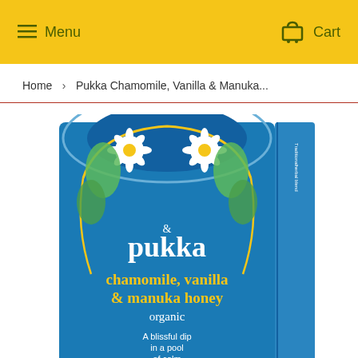Menu  Cart
Home › Pukka Chamomile, Vanilla & Manuka...
[Figure (photo): Pukka Chamomile, Vanilla & Manuka Honey organic tea box. Blue decorative box with gold Pukka logo, chamomile flowers, and yellow text reading 'chamomile, vanilla & manuka honey organic — A blissful dip in a pool of calm']